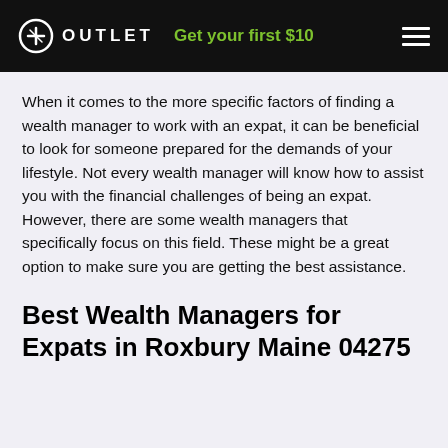OUTLET  Get your first $10
When it comes to the more specific factors of finding a wealth manager to work with an expat, it can be beneficial to look for someone prepared for the demands of your lifestyle. Not every wealth manager will know how to assist you with the financial challenges of being an expat. However, there are some wealth managers that specifically focus on this field. These might be a great option to make sure you are getting the best assistance.
Best Wealth Managers for Expats in Roxbury Maine 04275